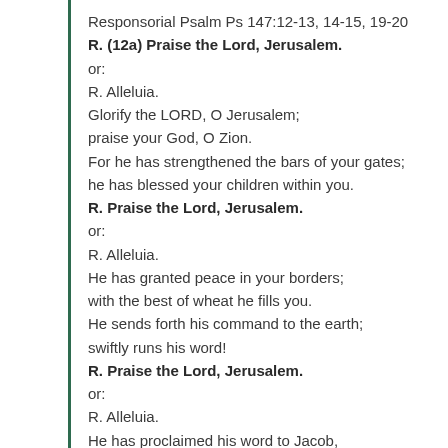Responsorial Psalm Ps 147:12-13, 14-15, 19-20
R. (12a) Praise the Lord, Jerusalem.
or:
R. Alleluia.
Glorify the LORD, O Jerusalem;
praise your God, O Zion.
For he has strengthened the bars of your gates;
he has blessed your children within you.
R. Praise the Lord, Jerusalem.
or:
R. Alleluia.
He has granted peace in your borders;
with the best of wheat he fills you.
He sends forth his command to the earth;
swiftly runs his word!
R. Praise the Lord, Jerusalem.
or:
R. Alleluia.
He has proclaimed his word to Jacob,
his statutes and his ordinances to Israel.